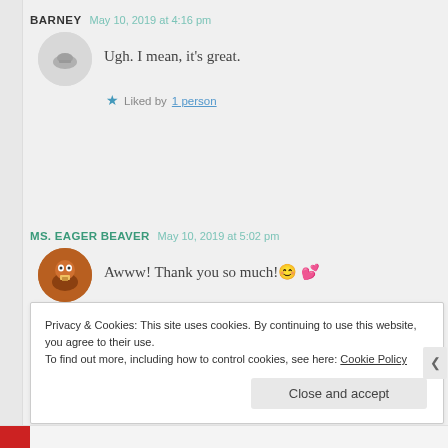BARNEY   May 10, 2019 at 4:16 pm
Ugh. I mean, it's great.
★ Liked by 1 person
MS. EAGER BEAVER   May 10, 2019 at 5:02 pm
Awww! Thank you so much! 😊 💕
★ Liked by 1 person
Privacy & Cookies: This site uses cookies. By continuing to use this website, you agree to their use.
To find out more, including how to control cookies, see here: Cookie Policy
Close and accept